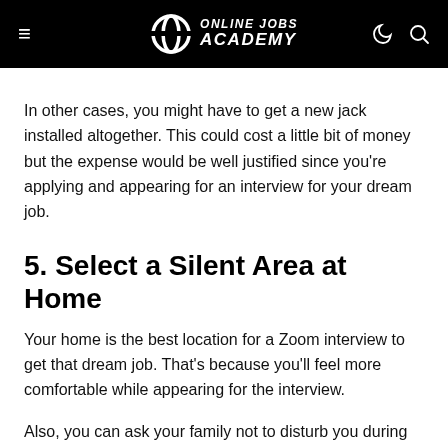Online Jobs Academy
In other cases, you might have to get a new jack installed altogether. This could cost a little bit of money but the expense would be well justified since you're applying and appearing for an interview for your dream job.
5. Select a Silent Area at Home
Your home is the best location for a Zoom interview to get that dream job. That's because you'll feel more comfortable while appearing for the interview.
Also, you can ask your family not to disturb you during